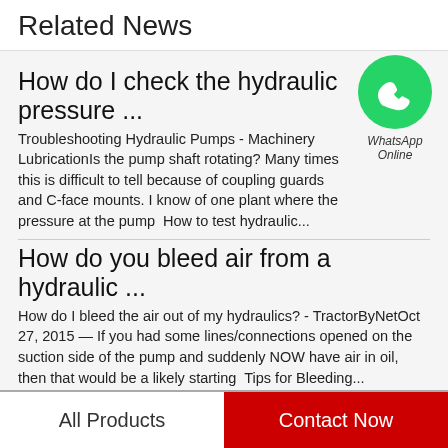Related News
How do I check the hydraulic pressure ...
Troubleshooting Hydraulic Pumps - Machinery LubricationIs the pump shaft rotating? Many times this is difficult to tell because of coupling guards and C-face mounts. I know of one plant where the pressure at the pump  How to test hydraulic...
[Figure (logo): WhatsApp icon — green circle with white phone handset, labeled 'WhatsApp Online']
How do you bleed air from a hydraulic ...
How do I bleed the air out of my hydraulics? - TractorByNetOct 27, 2015 — If you had some lines/connections opened on the suction side of the pump and suddenly NOW have air in oil, then that would be a likely starting  Tips for Bleeding...
All Products | Contact Now